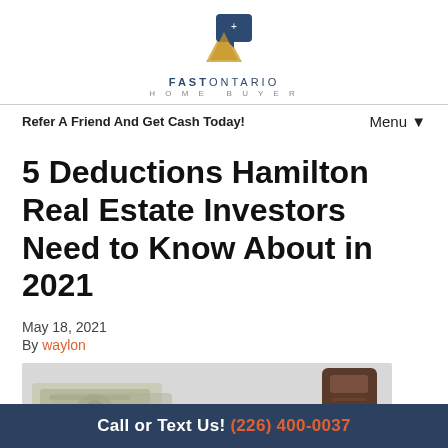[Figure (logo): Fast Ontario Home Buyer logo with blue and gold speech bubble icon and text below]
Refer A Friend And Get Cash Today!
Menu ▼
5 Deductions Hamilton Real Estate Investors Need to Know About in 2021
May 18, 2021
By waylon
[Figure (photo): Photo of cash money and a dark wallet on a white surface]
Call or Text Us! (226) 400-0037